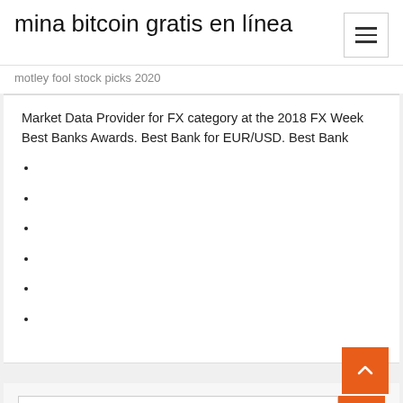mina bitcoin gratis en línea
motley fool stock picks 2020
Market Data Provider for FX category at the 2018 FX Week Best Banks Awards. Best Bank for EUR/USD. Best Bank